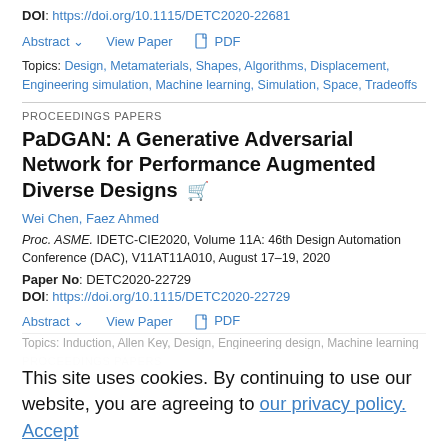DOI: https://doi.org/10.1115/DETC2020-22681
Abstract  View Paper  PDF
Topics: Design, Metamaterials, Shapes, Algorithms, Displacement, Engineering simulation, Machine learning, Simulation, Space, Tradeoffs
PROCEEDINGS PAPERS
PaDGAN: A Generative Adversarial Network for Performance Augmented Diverse Designs
Wei Chen, Faez Ahmed
Proc. ASME. IDETC-CIE2020, Volume 11A: 46th Design Automation Conference (DAC), V11AT11A010, August 17–19, 2020
Paper No: DETC2020-22729
DOI: https://doi.org/10.1115/DETC2020-22729
Abstract  View Paper  PDF
This site uses cookies. By continuing to use our website, you are agreeing to our privacy policy. Accept